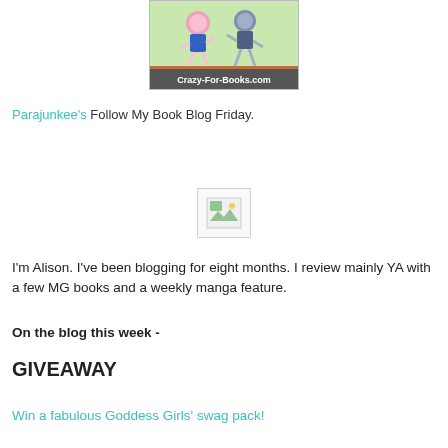[Figure (illustration): Cartoon characters from Crazy-For-Books.com blog logo - two illustrated characters dancing on a green background with 'Crazy-For-Books.com' text at the bottom]
Parajunkee's Follow My Book Blog Friday.
[Figure (other): Broken/placeholder image icon in a small bordered box]
I'm Alison. I've been blogging for eight months. I review mainly YA with a few MG books and a weekly manga feature.
On the blog this week -
GIVEAWAY
Win a fabulous Goddess Girls' swag pack!